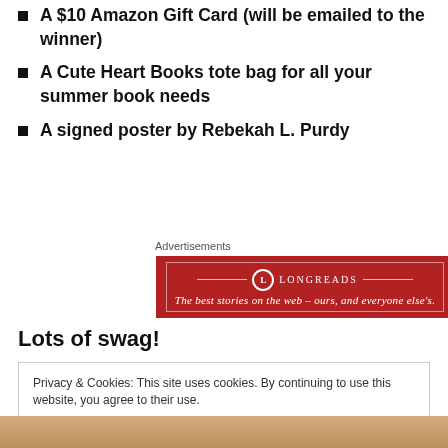A $10 Amazon Gift Card (will be emailed to the winner)
A Cute Heart Books tote bag for all your summer book needs
A signed poster by Rebekah L. Purdy
[Figure (other): Longreads advertisement banner: red background with white border, Longreads logo and tagline 'The best stories on the web – ours, and everyone else's.']
Lots of swag!
Privacy & Cookies: This site uses cookies. By continuing to use this website, you agree to their use.
To find out more, including how to control cookies, see here: Cookie Policy
[Figure (photo): Partial book cover image at bottom of page]